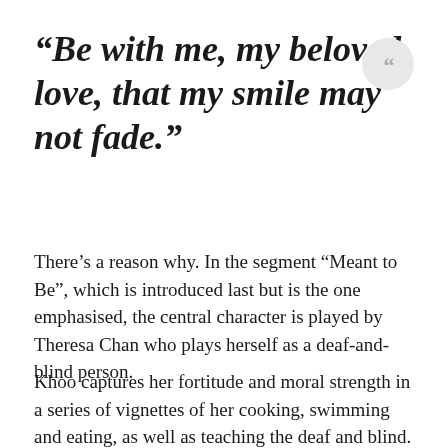“Be with me, my beloved love, that my smile may not fade.”
There’s a reason why. In the segment “Meant to Be”, which is introduced last but is the one emphasised, the central character is played by Theresa Chan who plays herself as a deaf-and-blind person.
Khoo captures her fortitude and moral strength in a series of vignettes of her cooking, swimming and eating, as well as teaching the deaf and blind.